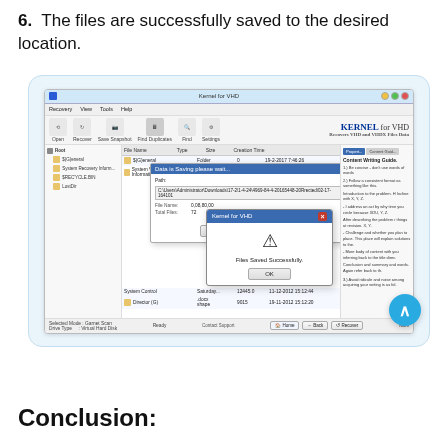6. The files are successfully saved to the desired location.
[Figure (screenshot): Screenshot of Kernel for VHD software showing a file saving dialog with a success popup dialog stating 'Files Saved Successfully' with an OK button, and Stop Saving / Skip File buttons below. The software interface shows a file browser with a directory tree on the left and file listing in the center, with a blue circular back-to-top button overlaid on the bottom right.]
Conclusion: